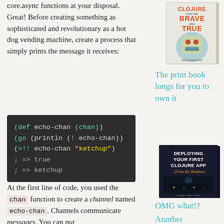core.async functions at your disposal. Great! Before creating something as sophisticated and revolutionary as a hot dog vending machine, create a process that simply prints the message it receives:
[Figure (illustration): Book cover: Clojure for the Brave and True]
The print book longs for you to own it
[Figure (screenshot): Code block showing: (def echo-chan (chan)) (go (println (<! echo-chan)) (>!! echo-chan "ketchup") ; => true ; => ketchup]
[Figure (illustration): Book cover: Deploying Your First Clojure App ...From the Shadows]
OMG what!? Another
At the first line of code, you used the chan function to create a channel named echo-chan. Channels communicate messages. You can put